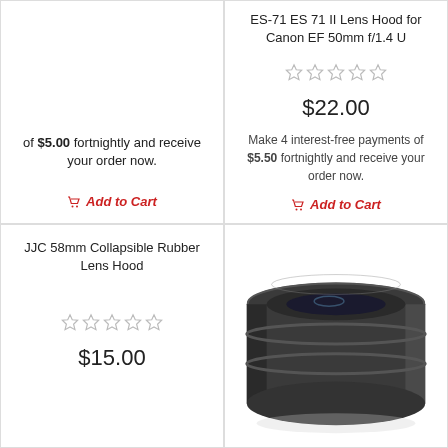of $5.00 fortnightly and receive your order now.
Add to Cart
ES-71 ES 71 II Lens Hood for Canon EF 50mm f/1.4 U
$22.00
Make 4 interest-free payments of $5.50 fortnightly and receive your order now.
Add to Cart
JJC 58mm Collapsible Rubber Lens Hood
$15.00
[Figure (photo): JJC 58mm Collapsible Rubber Lens Hood product photo, dark grey/black rubber lens hood viewed from front at slight angle]